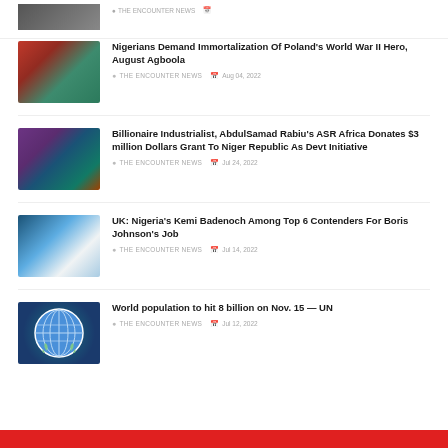[Figure (photo): Partial thumbnail of a previous news article (top, cut off)]
THE ENCOUNTER NEWS   [date cut off]
[Figure (photo): Photo of people in colorful traditional attire]
Nigerians Demand Immortalization Of Poland's World War II Hero, August Agboola
THE ENCOUNTER NEWS   Aug 04, 2022
[Figure (photo): Photo of men in formal and traditional attire]
Billionaire Industrialist, AbdulSamad Rabiu's ASR Africa Donates $3 million Dollars Grant To Niger Republic As Devt Initiative
THE ENCOUNTER NEWS   Jul 24, 2022
[Figure (photo): Photo of a woman (Kemi Badenoch)]
UK: Nigeria's Kemi Badenoch Among Top 6 Contenders For Boris Johnson's Job
THE ENCOUNTER NEWS   Jul 14, 2022
[Figure (logo): United Nations logo (blue globe with olive branches)]
World population to hit 8 billion on Nov. 15 — UN
THE ENCOUNTER NEWS   Jul 12, 2022